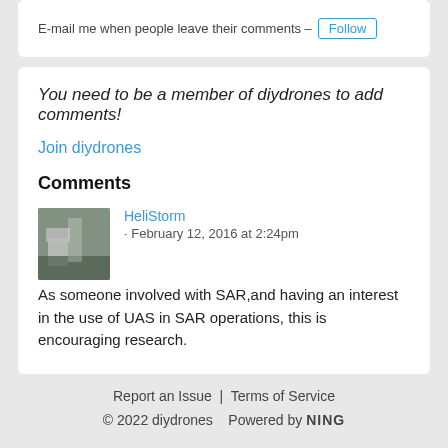E-mail me when people leave their comments – Follow
You need to be a member of diydrones to add comments!
Join diydrones
Comments
HeliStorm · February 12, 2016 at 2:24pm
As someone involved with SAR,and having an interest in the use of UAS in SAR operations, this is encouraging research.
Report an Issue  |  Terms of Service
© 2022 diydrones   Powered by NING